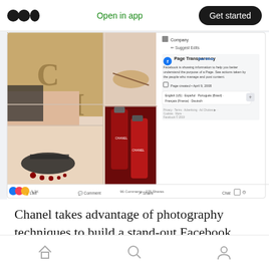Open in app | Get started
[Figure (screenshot): Screenshot of Chanel's Facebook page showing a collage of fashion/beauty images (hands, feet with sandals, red nail polish bottles), with Facebook Page Transparency panel on the right showing page created April 9, 2008, with language options and footer links.]
Chanel takes advantage of photography techniques to build a stand-out Facebook page. As you see, they have a great way of storytelling